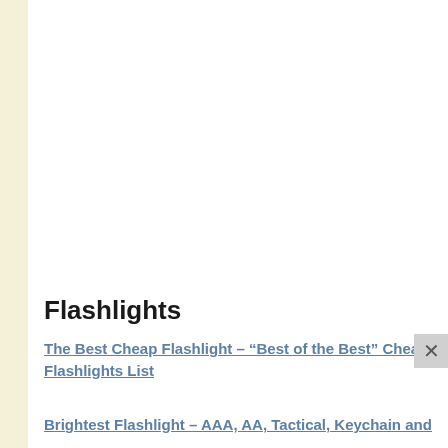Flashlights
The Best Cheap Flashlight – “Best of the Best” Cheap Flashlights List
Brightest Flashlight – AAA, AA, Tactical, Keychain and